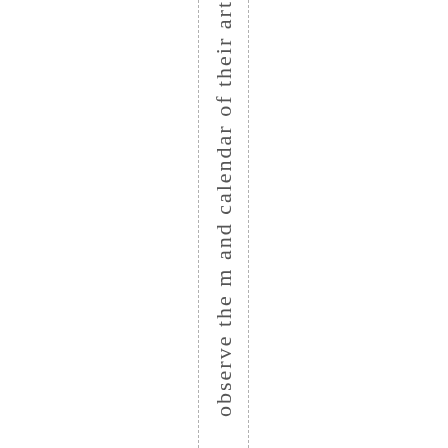observe the mand calendar of their art